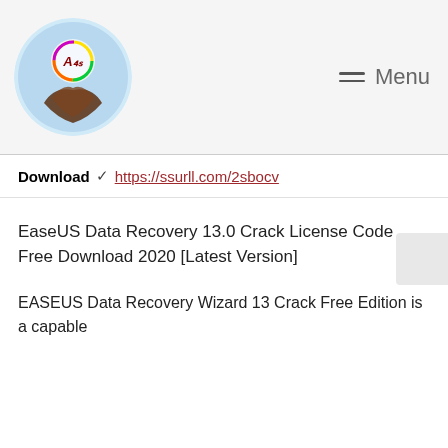Menu
Download ✓ https://ssurll.com/2sbocv
EaseUS Data Recovery 13.0 Crack License Code Free Download 2020 [Latest Version]
EASEUS Data Recovery Wizard 13 Crack Free Edition is a capable